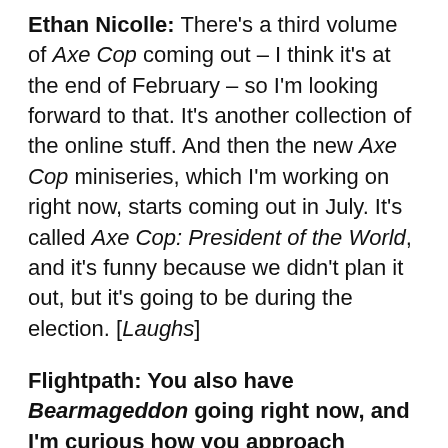Ethan Nicolle: There's a third volume of Axe Cop coming out – I think it's at the end of February – so I'm looking forward to that. It's another collection of the online stuff. And then the new Axe Cop miniseries, which I'm working on right now, starts coming out in July. It's called Axe Cop: President of the World, and it's funny because we didn't plan it out, but it's going to be during the election. [Laughs]
Flightpath: You also have Bearmageddon going right now, and I'm curious how you approach creating a webcomic like that, because it's one continuous story and not standalone stories.